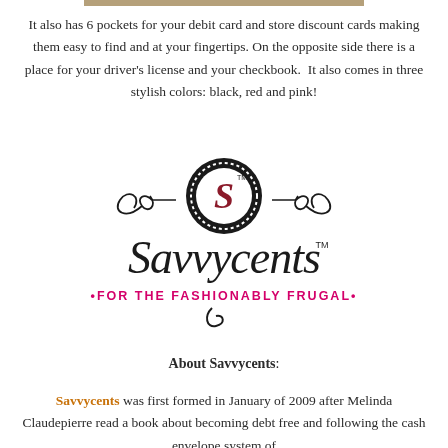It also has 6 pockets for your debit card and store discount cards making them easy to find and at your fingertips. On the opposite side there is a place for your driver's license and your checkbook.  It also comes in three stylish colors: black, red and pink!
[Figure (logo): Savvycents logo — decorative script lettering 'Savvycents' with a circular emblem above containing a stylized 'S', and tagline '•FOR THE FASHIONABLY FRUGAL•' in pink below]
About Savvycents:
Savvycents was first formed in January of 2009 after Melinda Claudepierre read a book about becoming debt free and following the cash envelope system of